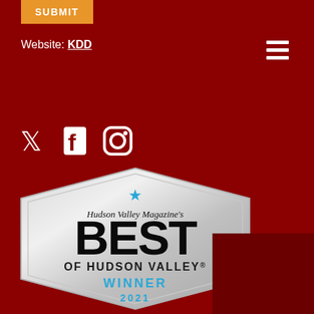SUBMIT
Website: KDD
[Figure (illustration): Hamburger menu icon (three horizontal lines) in white on dark red background]
[Figure (illustration): Social media icons: Twitter bird, Facebook F, and Instagram camera in white on dark red background]
[Figure (logo): Hudson Valley Magazine's Best of Hudson Valley Winner 2021 badge/seal in silver with black and cyan text, featuring a cyan star at top]
[Figure (other): Partial dark red box visible in lower right corner of the page]